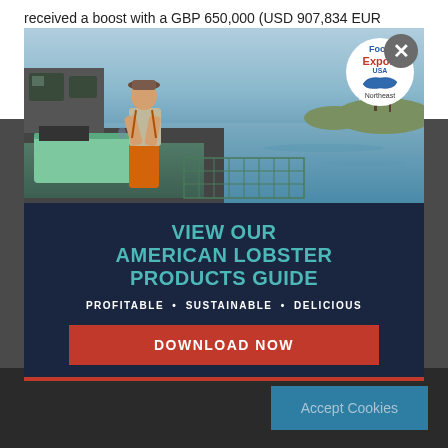received a boost with a GBP 650,000 (USD 907,834 EUR 755,562) grant from the Marine Stewardship Council (MSC).
The MSC grant, channeled via the Ocean Stewardship Fund, will
[Figure (photo): Modal advertisement overlay showing a fisherman on a boat handling lobster traps with ocean and lighthouse in background. Food Export USA Northeast logo badge in top right. Dark navy lower section with text 'VIEW OUR AMERICAN LOBSTER PRODUCTS GUIDE', 'PROFITABLE • SUSTAINABLE • DELICIOUS', and a red 'DOWNLOAD NOW' button. Close (X) button in top right corner.]
Accept Cookies